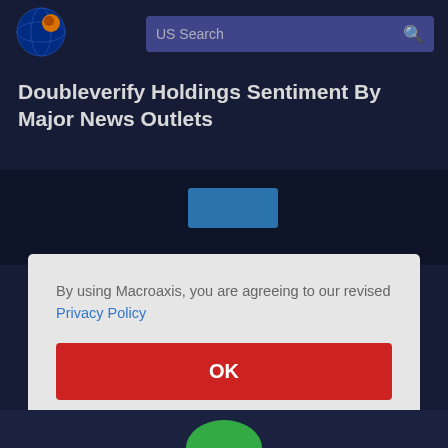[Figure (logo): Macroaxis globe logo with orange and blue colors]
US Search
Doubleverify Holdings Sentiment By Major News Outlets
[Figure (screenshot): Partial chart area with dark background and blue rectangle element]
By using Macroaxis, you are agreeing to our revised Privacy Policy
OK